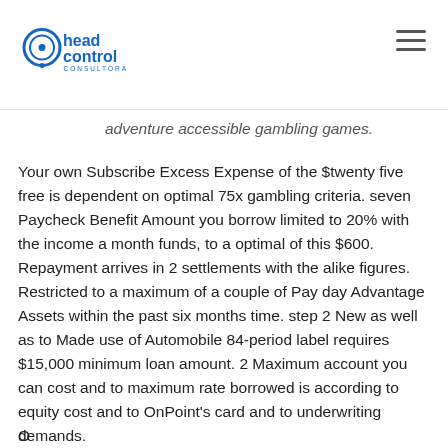head control consultora
adventure accessible gambling games.
Your own Subscribe Excess Expense of the $twenty five free is dependent on optimal 75x gambling criteria. seven Paycheck Benefit Amount you borrow limited to 20% with the income a month funds, to a optimal of this $600. Repayment arrives in 2 settlements with the alike figures. Restricted to a maximum of a couple of Pay day Advantage Assets within the past six months time. step 2 New as well as to Made use of Automobile 84-period label requires $15,000 minimum loan amount. 2 Maximum account you can cost and to maximum rate borrowed is according to equity cost and to OnPoint's card and to underwriting demands.